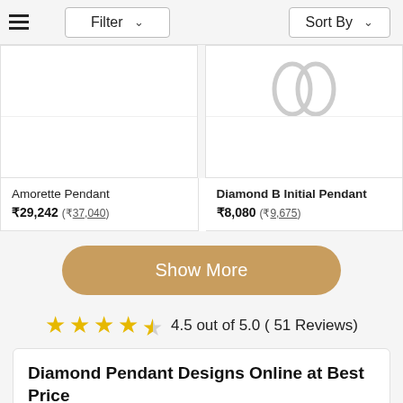≡  Filter ⌄   Sort By ⌄
[Figure (photo): Product image area for Amorette Pendant (partially visible, cropped at top)]
Amorette Pendant
₹29,242 (₹37,040)
[Figure (photo): Product image area for Diamond B Initial Pendant (partially visible, shows pendant shape)]
Diamond B Initial Pendant
₹8,080 (₹9,675)
Show More
4.5 out of 5.0 ( 51 Reviews)
Diamond Pendant Designs Online at Best Price
We are all familiar with the concept of neck